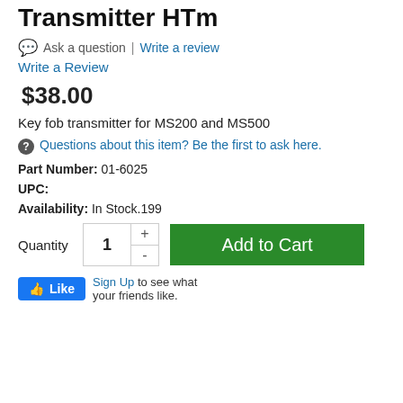Transmitter HTm
💬  Ask a question  |  Write a review
Write a Review
$38.00
Key fob transmitter for MS200 and MS500
Questions about this item? Be the first to ask here.
Part Number: 01-6025
UPC:
Availability: In Stock.199
Quantity  1  Add to Cart
Like  Sign Up to see what your friends like.